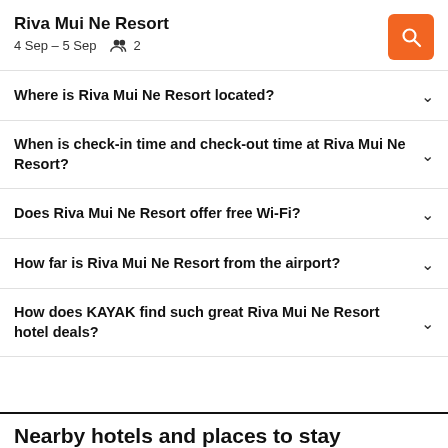Riva Mui Ne Resort
4 Sep – 5 Sep   2
Where is Riva Mui Ne Resort located?
When is check-in time and check-out time at Riva Mui Ne Resort?
Does Riva Mui Ne Resort offer free Wi-Fi?
How far is Riva Mui Ne Resort from the airport?
How does KAYAK find such great Riva Mui Ne Resort hotel deals?
Nearby hotels and places to stay